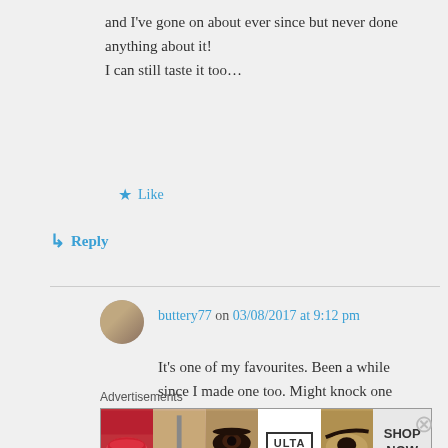and I've gone on about ever since but never done anything about it!
I can still taste it too…
★ Like
↳ Reply
buttery77 on 03/08/2017 at 9:12 pm
It's one of my favourites. Been a while since I made one too. Might knock one up myself! Thanks for the comment
Advertisements
[Figure (photo): Ulta beauty advertisement banner with cosmetics images including lips, makeup brush, eye, Ulta logo, eyebrow, and SHOP NOW button]